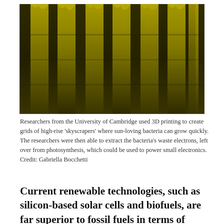[Figure (photo): Sepia-toned microscope or aerial photograph showing vertical columnar structures resembling high-rise 'skyscrapers' with textured, bushy surfaces — representing 3D-printed grids where sun-loving bacteria grow.]
Researchers from the University of Cambridge used 3D printing to create grids of high-rise 'skyscrapers' where sun-loving bacteria can grow quickly. The researchers were then able to extract the bacteria's waste electrons, left over from photosynthesis, which could be used to power small electronics. Credit: Gabriella Bocchetti
Current renewable technologies, such as silicon-based solar cells and biofuels, are far superior to fossil fuels in terms of carbon emissions, but they